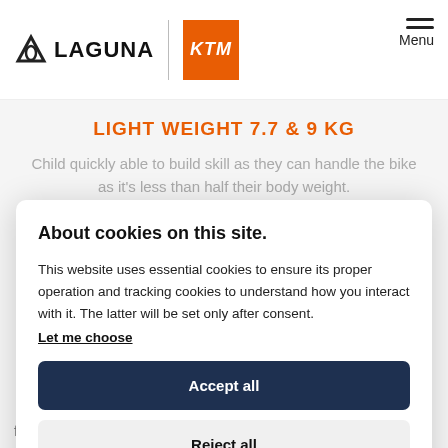LAGUNA | KTM | Menu
LIGHT WEIGHT 7.7 & 9 KG
Child quickly able to build skill as they can handle the bike as it's less than half their body weight.
About cookies on this site.
This website uses essential cookies to ensure its proper operation and tracking cookies to understand how you interact with it. The latter will be set only after consent.
Let me choose
Accept all
Reject all
firmly planted on the ground. Allows child to 'dab' foot